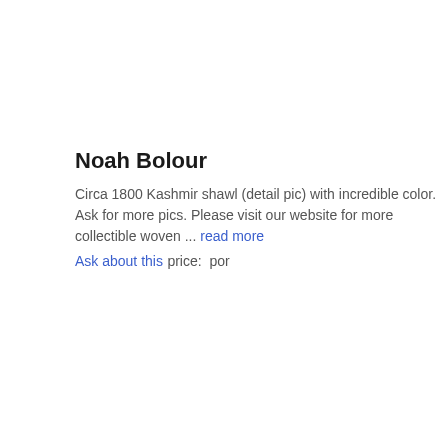Noah Bolour
Circa 1800 Kashmir shawl (detail pic) with incredible color. Ask for more pics. Please visit our website for more collectible woven ... read more
Ask about this
price:  por